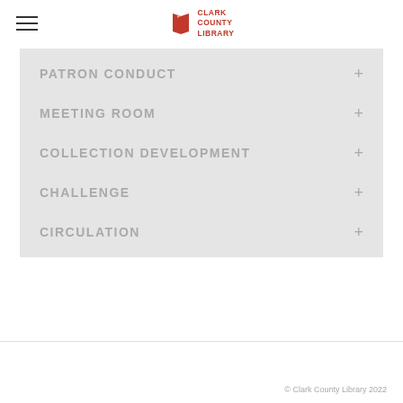Clark County Library
PATRON CONDUCT
MEETING ROOM
COLLECTION DEVELOPMENT
CHALLENGE
CIRCULATION
© Clark County Library 2022